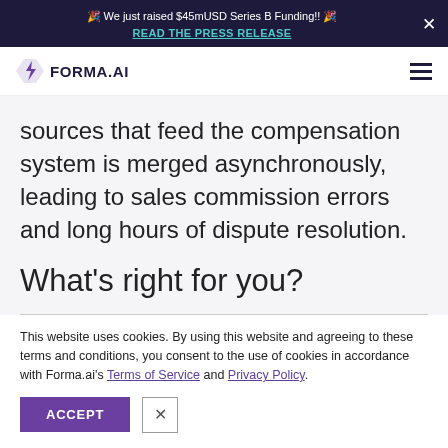🎉 We just raised $45mUSD Series B Funding!! 🎉 READ THE PRESS RELEASE
[Figure (logo): Forma.AI logo with stylized bolt icon and wordmark]
sources that feed the compensation system is merged asynchronously, leading to sales commission errors and long hours of dispute resolution.
What's right for you?
This website uses cookies. By using this website and agreeing to these terms and conditions, you consent to the use of cookies in accordance with Forma.ai's Terms of Service and Privacy Policy.